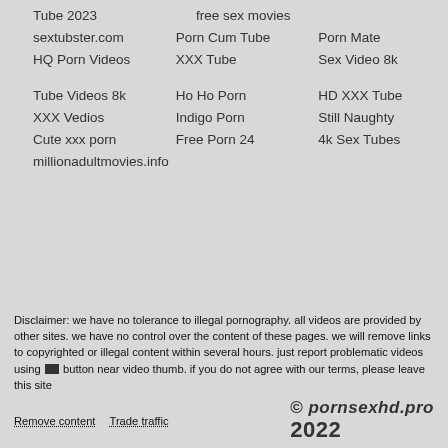Tube 2023
free sex movies
sextubster.com
Porn Cum Tube
Porn Mate
HQ Porn Videos
XXX Tube
Sex Video 8k
Tube Videos 8k
Ho Ho Porn
HD XXX Tube
XXX Vedios
Indigo Porn
Still Naughty
Cute xxx porn
Free Porn 24
4k Sex Tubes
millionadultmovies.info
Disclaimer: we have no tolerance to illegal pornography. all videos are provided by other sites. we have no control over the content of these pages. we will remove links to copyrighted or illegal content within several hours. just report problematic videos using [flag] button near video thumb. if you do not agree with our terms, please leave this site
Remove content   Trade traffic   © pornsexhd.pro 2022